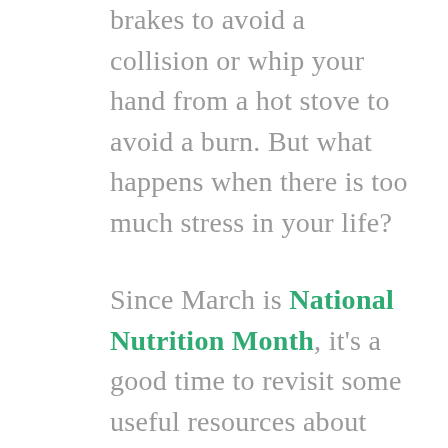brakes to avoid a collision or whip your hand from a hot stove to avoid a burn. But what happens when there is too much stress in your life?
Since March is National Nutrition Month, it's a good time to revisit some useful resources about nutrition and